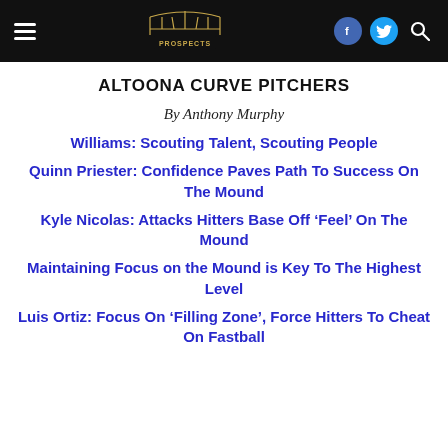PROSPECTS (navigation bar with logo, hamburger menu, facebook, twitter, search icons)
ALTOONA CURVE PITCHERS
By Anthony Murphy
Williams: Scouting Talent, Scouting People
Quinn Priester: Confidence Paves Path To Success On The Mound
Kyle Nicolas: Attacks Hitters Base Off ‘Feel’ On The Mound
Maintaining Focus on the Mound is Key To The Highest Level
Luis Ortiz: Focus On ‘Filling Zone’, Force Hitters To Cheat On Fastball